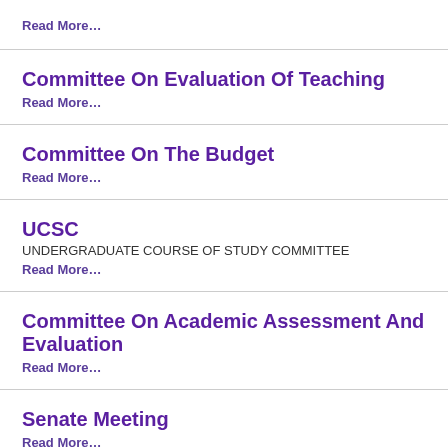Read More…
Committee On Evaluation Of Teaching
Read More…
Committee On The Budget
Read More…
UCSC
UNDERGRADUATE COURSE OF STUDY COMMITTEE
Read More…
Committee On Academic Assessment And Evaluation
Read More…
Senate Meeting
Read More…